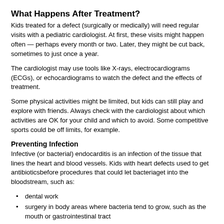What Happens After Treatment?
Kids treated for a defect (surgically or medically) will need regular visits with a pediatric cardiologist. At first, these visits might happen often — perhaps every month or two. Later, they might be cut back, sometimes to just once a year.
The cardiologist may use tools like X-rays, electrocardiograms (ECGs), or echocardiograms to watch the defect and the effects of treatment.
Some physical activities might be limited, but kids can still play and explore with friends. Always check with the cardiologist about which activities are OK for your child and which to avoid. Some competitive sports could be off limits, for example.
Preventing Infection
Infective (or bacterial) endocarditis is an infection of the tissue that lines the heart and blood vessels. Kids with heart defects used to get antibioticsbefore procedures that could let bacteriaget into the bloodstream, such as:
dental work
surgery in body areas where bacteria tend to grow, such as the mouth or gastrointestinal tract
But now, preventive antibiotics are given only to some children with heart defects. This includes those who:
have a type of congenital heart disease that causes cyanosis (bluish color of the skin)
have had infective endocarditis before
had their defect repaired with prosthetic material (like an artificial heart valve) or device